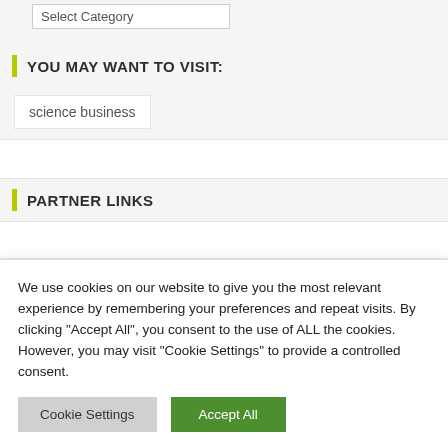Select Category
YOU MAY WANT TO VISIT:
science business
PARTNER LINKS
YOU MAY HAVE MISSED
We use cookies on our website to give you the most relevant experience by remembering your preferences and repeat visits. By clicking "Accept All", you consent to the use of ALL the cookies. However, you may visit "Cookie Settings" to provide a controlled consent.
Cookie Settings
Accept All